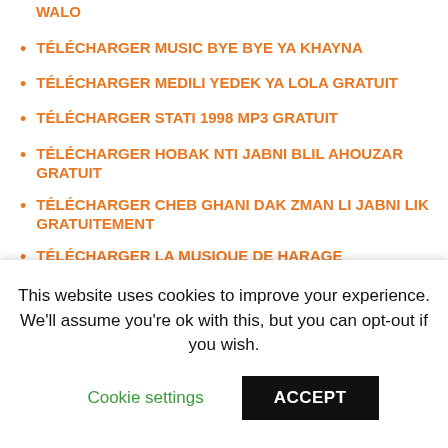WALO
TÉLÉCHARGER MUSIC BYE BYE YA KHAYNA
TÉLÉCHARGER MEDILI YEDEK YA LOLA GRATUIT
TÉLÉCHARGER STATI 1998 MP3 GRATUIT
TÉLÉCHARGER HOBAK NTI JABNI BLIL AHOUZAR GRATUIT
TÉLÉCHARGER CHEB GHANI DAK ZMAN LI JABNI LIK GRATUITEMENT
TÉLÉCHARGER LA MUSIQUE DE HARAGE
This website uses cookies to improve your experience. We'll assume you're ok with this, but you can opt-out if you wish.
Cookie settings
ACCEPT